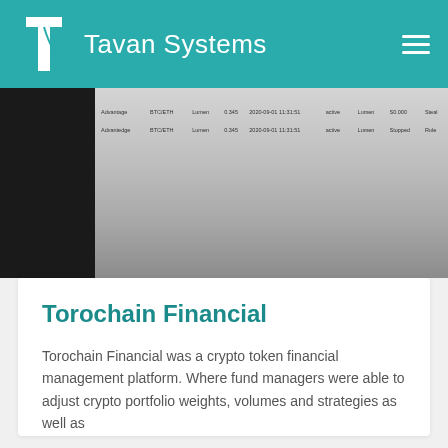Tavan Systems
[Figure (screenshot): Screenshot of a data table interface with dark left panel and gray table area showing rows of data]
Torochain Financial
Torochain Financial was a crypto token financial management platform. Where fund managers were able to adjust crypto portfolio weights, volumes and strategies as well as
READ MORE »